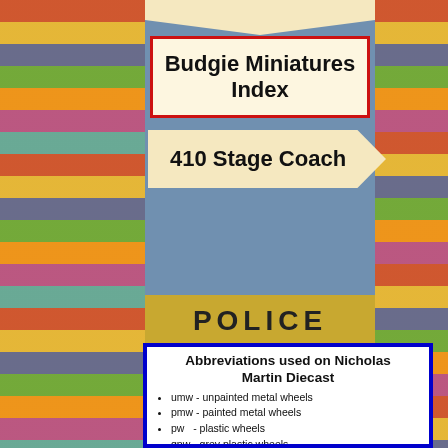Budgie Miniatures Index
410 Stage Coach
Abbreviations used on Nicholas Martin Diecast
umw - unpainted metal wheels
pmw - painted metal wheels
pw    - plastic wheels
gpw  - grey plastic wheels
spw  - silver plastic wheels
bpw  - black plastic wheels
um    - unpainted metal
id.      - maker's identification
Most images on model pages will enlarge with a click